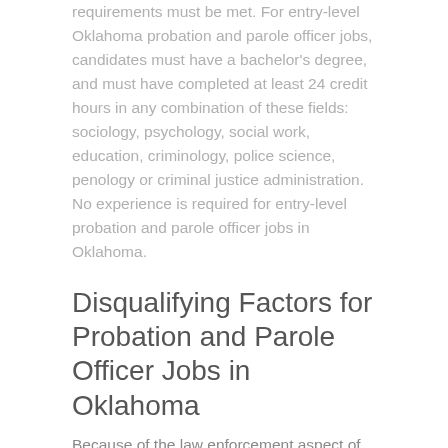requirements must be met. For entry-level Oklahoma probation and parole officer jobs, candidates must have a bachelor's degree, and must have completed at least 24 credit hours in any combination of these fields: sociology, psychology, social work, education, criminology, police science, penology or criminal justice administration. No experience is required for entry-level probation and parole officer jobs in Oklahoma.
Disqualifying Factors for Probation and Parole Officer Jobs in Oklahoma
Because of the law enforcement aspect of the Oklahoma probation and parole officer position, certain factors will disqualify an applicant from becoming a